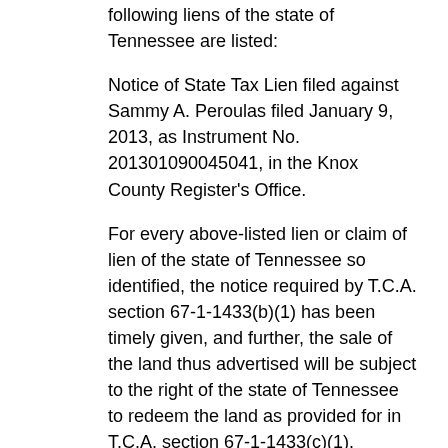following liens of the state of Tennessee are listed:
Notice of State Tax Lien filed against Sammy A. Peroulas filed January 9, 2013, as Instrument No. 201301090045041, in the Knox County Register's Office.
For every above-listed lien or claim of lien of the state of Tennessee so identified, the notice required by T.C.A. section 67-1-1433(b)(1) has been timely given, and further, the sale of the land thus advertised will be subject to the right of the state of Tennessee to redeem the land as provided for in T.C.A. section 67-1-1433(c)(1).
The sale of the above-described property shall be subject to all matters shown on any recorded plat; any unpaid taxes; and restrictive covenants, easements or set-back lines that